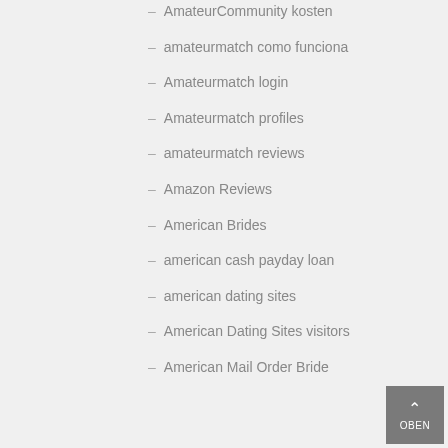AmateurCommunity kosten
amateurmatch como funciona
Amateurmatch login
Amateurmatch profiles
amateurmatch reviews
Amazon Reviews
American Brides
american cash payday loan
american dating sites
American Dating Sites visitors
American Mail Order Bride